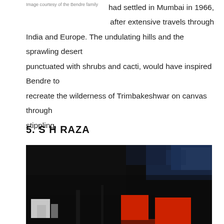Image courtesy of the Bendre family
had settled in Mumbai in 1966, after extensive travels through India and Europe. The undulating hills and the sprawling desert punctuated with shrubs and cacti, would have inspired Bendre to recreate the wilderness of Trimbakeshwar on canvas through stippling.
5. S H RAZA
[Figure (photo): Abstract painting with predominantly black background, blue areas in upper right, and bold red and white shapes in the lower portion]